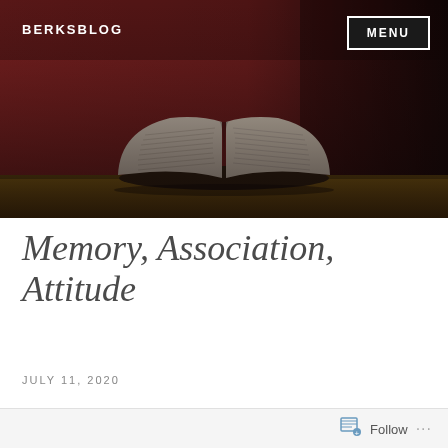[Figure (photo): Open Bible resting on a wooden surface against a dark red/maroon wall background, with header overlay]
BERKSBLOG
MENU
Memory, Association, Attitude
JULY 11, 2020
Follow ...